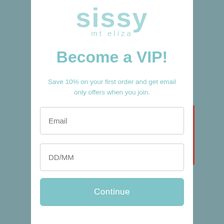[Figure (logo): Sissy mt eliza logo in light teal/blue color]
Become a VIP!
Save 10% on your first order and get email only offers when you join.
Email
DD/MM
Continue